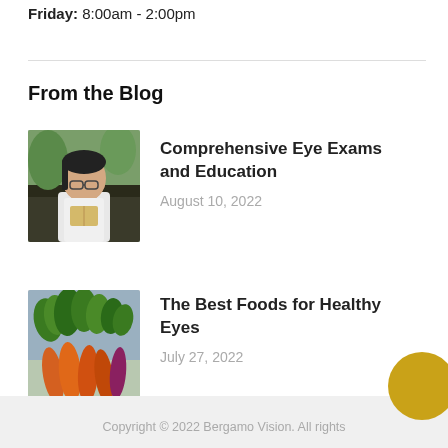Friday: 8:00am - 2:00pm
From the Blog
[Figure (photo): Young woman with glasses holding a book in a field]
Comprehensive Eye Exams and Education
August 10, 2022
[Figure (photo): Bunch of fresh carrots with green tops on a surface]
The Best Foods for Healthy Eyes
July 27, 2022
Copyright © 2022 Bergamo Vision. All rights